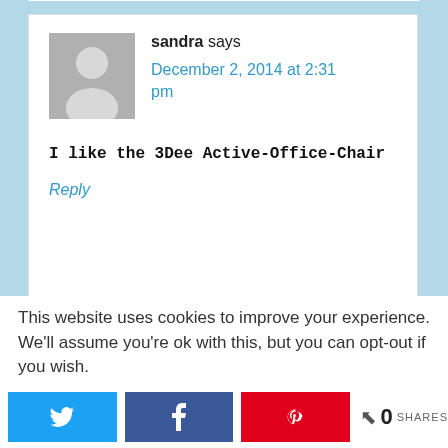[Figure (illustration): User avatar placeholder — gray square with a silhouette person icon]
sandra says
December 2, 2014 at 2:31 pm
I like the 3Dee Active-Office-Chair
Reply
This website uses cookies to improve your experience. We'll assume you're ok with this, but you can opt-out if you wish.
[Figure (other): Social share bar with Twitter, Facebook, Pinterest buttons and share count showing 0 SHARES]